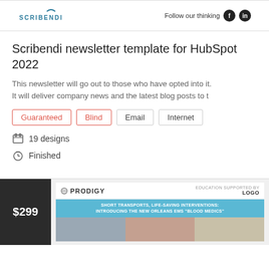SCRIBENDI | Follow our thinking
Scribendi newsletter template for HubSpot 2022
This newsletter will go out to those who have opted into it. It will deliver company news and the latest blog posts to t
Guaranteed
Blind
Email
Internet
19 designs
Finished
[Figure (screenshot): Preview card showing $299 price tag and a PRODIGY newsletter template preview with teal banner reading 'SHORT TRANSPORTS, LIFE-SAVING INTERVENTIONS: INTRODUCING THE NEW ORLEANS EMS BLOOD MEDICS']